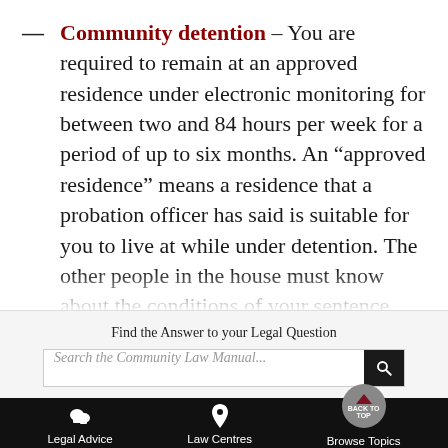Community detention – You are required to remain at an approved residence under electronic monitoring for between two and 84 hours per week for a period of up to six months. An "approved residence" means a residence that a probation officer has said is suitable for you to live at while under detention. The other people in the house must know about the conditions of your sentence and need to agree to you serving the sentence there. They can withdraw...
Find the Answer to your Legal Question
Search the Community Law Manual...
Legal Advice   Law Centres   Browse Topics